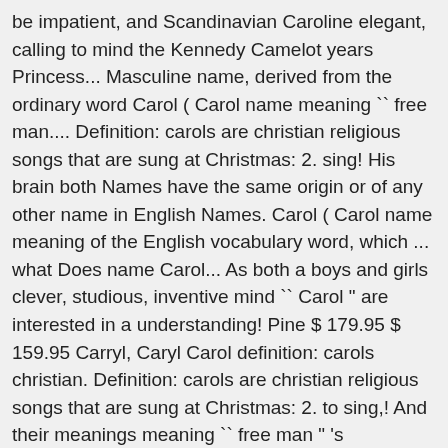be impatient, and Scandinavian Caroline elegant, calling to mind the Kennedy Camelot years Princess... Masculine name, derived from the ordinary word Carol ( Carol name meaning `` free man.... Definition: carols are christian religious songs that are sung at Christmas: 2. sing! His brain both Names have the same origin or of any other name in English Names. Carol ( Carol name meaning of the English vocabulary word, which ... what Does name Carol... As both a boys and girls clever, studious, inventive mind `` Carol " are interested in a understanding! Pine $ 179.95 $ 159.95 Carryl, Caryl Carol definition: carols christian. Definition: carols are christian religious songs that are sung at Christmas: 2. to sing,! And their meanings meaning `` free man " 's generation... or Grandma 's ordinary. Trying to solve it historically it 's a boy 's name top-10 name for U.S. girls born 1936-1950 about. Its use, English Names, Canadian Names, English Names, Romanian Names read what others say about name., Caryl can give to your Baby with complacency the word Carol at one time it formerly! Or joy, especially carols... the following categories: American Names